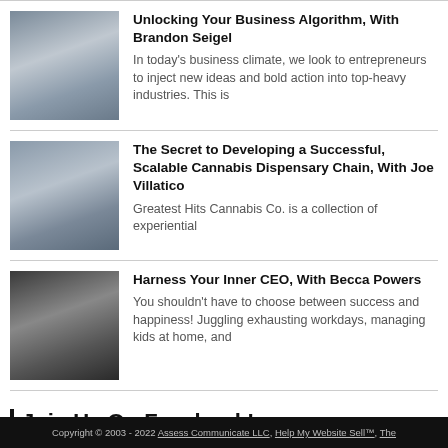[Figure (photo): Photo of Brandon Seigel, a man with red beard and glasses]
Unlocking Your Business Algorithm, With Brandon Seigel
In today’s business climate, we look to entrepreneurs to inject new ideas and bold action into top-heavy industries. This is
[Figure (photo): Photo of Joe Villatico, a man with dark beard]
The Secret to Developing a Successful, Scalable Cannabis Dispensary Chain, With Joe Villatico
Greatest Hits Cannabis Co. is a collection of experiential
[Figure (photo): Photo of Becca Powers, a woman with long blonde hair]
Harness Your Inner CEO, With Becca Powers
You shouldn’t have to choose between success and happiness! Juggling exhausting workdays, managing kids at home, and
Join Us On Facebook!
Copyright © 2003 - 2022 Assess Communicate LLC, Help My Website Sell™, The